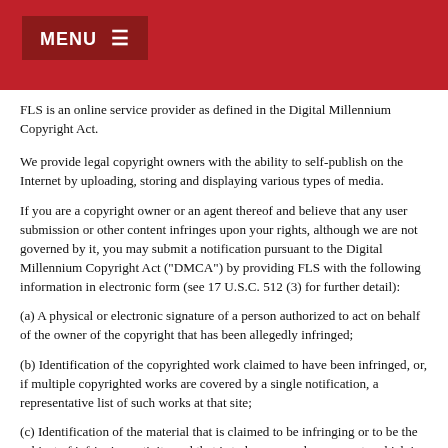MENU ≡
FLS is an online service provider as defined in the Digital Millennium Copyright Act.
We provide legal copyright owners with the ability to self-publish on the Internet by uploading, storing and displaying various types of media.
If you are a copyright owner or an agent thereof and believe that any user submission or other content infringes upon your rights, although we are not governed by it, you may submit a notification pursuant to the Digital Millennium Copyright Act ("DMCA") by providing FLS with the following information in electronic form (see 17 U.S.C. 512 (3) for further detail):
(a) A physical or electronic signature of a person authorized to act on behalf of the owner of the copyright that has been allegedly infringed;
(b) Identification of the copyrighted work claimed to have been infringed, or, if multiple copyrighted works are covered by a single notification, a representative list of such works at that site;
(c) Identification of the material that is claimed to be infringing or to be the subject of infringing activity and that is to be removed or access to which is to be disabled and information reasonably